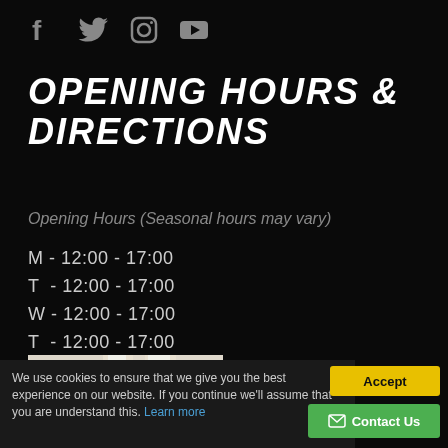Social media icons: Facebook, Twitter, Instagram, YouTube
OPENING HOURS & DIRECTIONS
Opening Hours (Seasonal hours may vary)
M - 12:00 - 17:00
T  - 12:00 - 17:00
W - 12:00 - 17:00
T  - 12:00 - 17:00
F  - 12:00 - 17:00
S  - 10:00 - 17:00
S  - CLOSED
[Figure (map): Google Maps screenshot showing Darlington area with a red location pin marker]
We use cookies to ensure that we give you the best experience on our website. If you continue we'll assume that you are understand this. Learn more
Accept
Contact Us